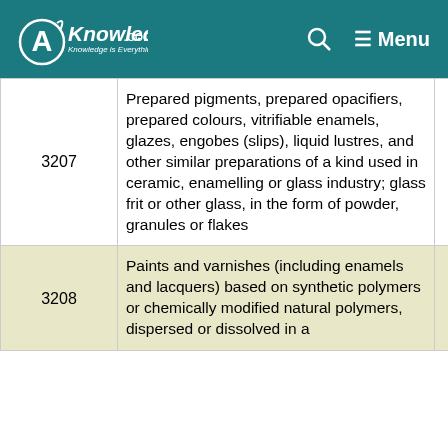AKnowledge.com — Menu
| Code | Description | Rate |
| --- | --- | --- |
| 3207 | Prepared pigments, prepared opacifiers, prepared colours, vitrifiable enamels, glazes, engobes (slips), liquid lustres, and other similar preparations of a kind used in ceramic, enamelling or glass industry; glass frit or other glass, in the form of powder, granules or flakes | 18 |
| 3208 | Paints and varnishes (including enamels and lacquers) based on synthetic polymers or chemically modified natural polymers, dispersed or dissolved in a | 18 |